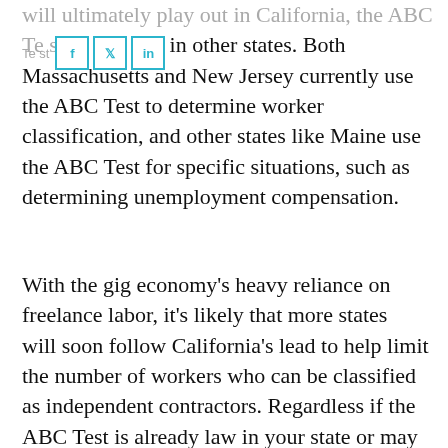will ultimately play out in California, the ABC Test … sts in other states. Both Massachusetts and New Jersey currently use the ABC Test to determine worker classification, and other states like Maine use the ABC Test for specific situations, such as determining unemployment compensation.
With the gig economy's heavy reliance on freelance labor, it's likely that more states will soon follow California's lead to help limit the number of workers who can be classified as independent contractors. Regardless if the ABC Test is already law in your state or may become so soon, you should be extra vigilant